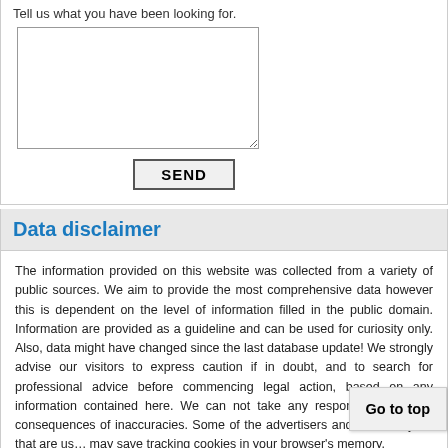Tell us what you have been looking for.
[textarea input field]
SEND
Data disclaimer
The information provided on this website was collected from a variety of public sources. We aim to provide the most comprehensive data however this is dependent on the level of information filled in the public domain. Information are provided as a guideline and can be used for curiosity only. Also, data might have changed since the last database update! We strongly advise our visitors to express caution if in doubt, and to search for professional advice before commencing legal action, based on any information contained here. We can not take any responsibility for the consequences of inaccuracies. Some of the advertisers and web analytics that are us... may save tracking cookies in your browser's memory.
Go to top
2015 © CompaniesAU.com - Free business directory in Australia
6.1ms :: 0q